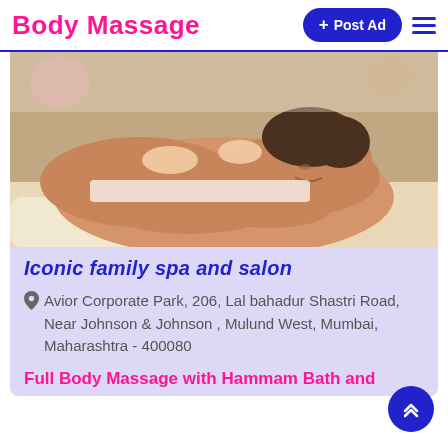Body Massage
[Figure (photo): A man lying on a massage table receiving a back massage, eyes closed, relaxed expression.]
Iconic family spa and salon
Avior Corporate Park, 206, Lal bahadur Shastri Road, Near Johnson & Johnson , Mulund West, Mumbai, Maharashtra - 400080
Full Body Massage with Hammam Bath and